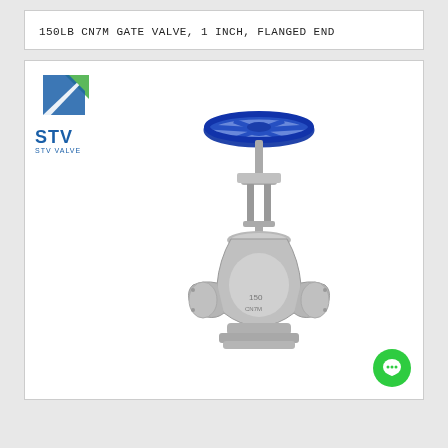150LB CN7M GATE VALVE, 1 INCH, FLANGED END
[Figure (photo): Product photo of a 150LB CN7M gate valve with 1 inch flanged end. The valve is silver/grey metal with a blue handwheel on top. STV Valve logo appears in the top left corner of the product image. A green chat button icon is visible in the bottom right corner.]